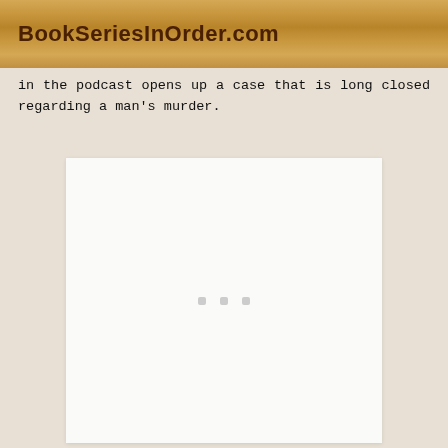BookSeriesInOrder.com
in the podcast opens up a case that is long closed regarding a man's murder.
[Figure (other): White card/panel with three small gray loading dots centered, likely a placeholder for an image or advertisement that has not yet loaded.]